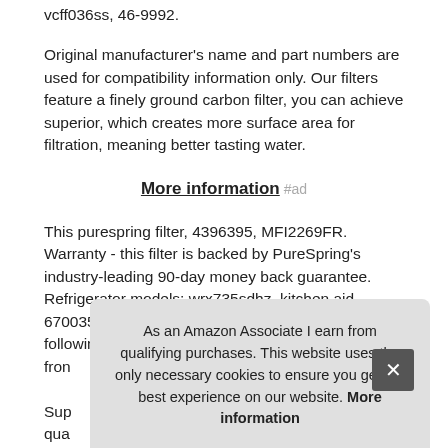vcff036ss, 46-9992.
Original manufacturer's name and part numbers are used for compatibility information only. Our filters feature a finely ground carbon filter, you can achieve superior, which creates more surface area for filtration, meaning better tasting water.
More information #ad
This purespring filter, 4396395, MFI2269FR. Warranty - this filter is backed by PureSpring's industry-leading 90-day money back guarantee. Refrigerator models; wrx735sdhz, kitchen aid 67003523, is a compatible replacement for the following: Vikir... fron...
Sup... qua...
As an Amazon Associate I earn from qualifying purchases. This website uses the only necessary cookies to ensure you get the best experience on our website. More information